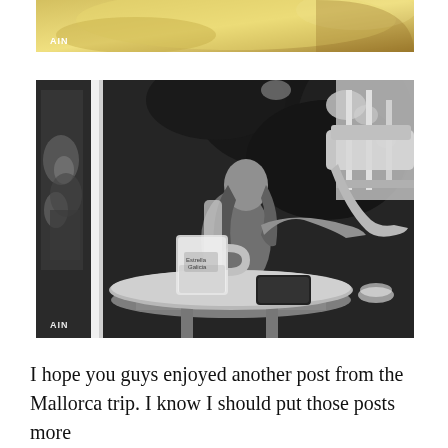[Figure (photo): Partial top photo cropped at the top of the page, appears to be a gold/yellow metallic surface with 'AIN' text watermark visible at bottom left]
[Figure (photo): Black and white photo of a young woman sitting at a round outdoor cafe table at night, looking out a window. A large glass beer mug is on the table along with a smartphone. Trees and outdoor lights are visible in the background. 'AIN' watermark visible at bottom left.]
I hope you guys enjoyed another post from the Mallorca trip. I know I should put those posts more